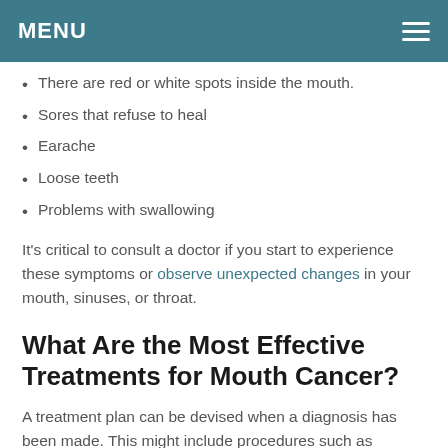MENU
There are red or white spots inside the mouth.
Sores that refuse to heal
Earache
Loose teeth
Problems with swallowing
It's critical to consult a doctor if you start to experience these symptoms or observe unexpected changes in your mouth, sinuses, or throat.
What Are the Most Effective Treatments for Mouth Cancer?
A treatment plan can be devised when a diagnosis has been made. This might include procedures such as surgery to remove malignant cells and radiation therapy or chemotherapy. Targeted medication treatment or immunotherapy may also be